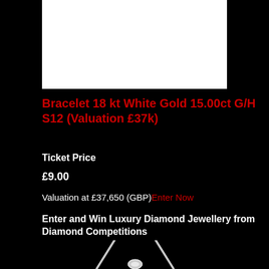[Figure (photo): Product photo area showing bracelet on white background]
Bracelet 18 kt White Gold 15.00ct G/H S12 (Valuation £37k)
Ticket Price
£9.00
Valuation at £37,650 (GBP) Enter Now
Enter and Win Luxury Diamond Jewellery from Diamond Competitions
[Figure (photo): Diamond necklace/jewellery image at bottom of page]